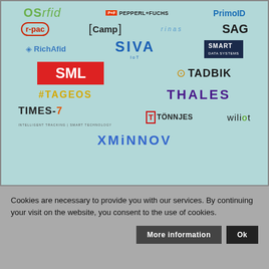[Figure (logo): Grid of company logos on light teal background: OSrfid, PEPPERL+FUCHS, PrimoID, r-pac, Camp, rinas, SAG, RichAfid, SIVA IoT, SMART, SML, TADBIK, TAGEOS, THALES, TIMES-7, TONNJES, wiliot, XMiNNOV]
Cookies are necessary to provide you with our services. By continuing your visit on the website, you consent to the use of cookies.
More information
Ok